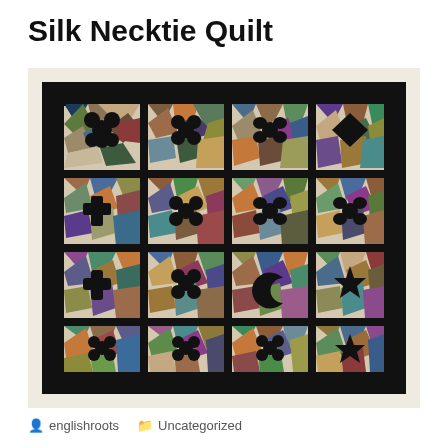Silk Necktie Quilt
[Figure (photo): A silk necktie crazy quilt displayed on a wall. The quilt has a thick black border and is composed of a 4x4 grid of square blocks. Each block contains colorful irregular patchwork pieces made from silk necktie fabrics in various colors and patterns, with large black appliqued shapes (flowers, crosses, diamonds, stars, moons) in the center of each block. The blocks are separated by black sashing with decorative stitching.]
englishroots    Uncategorized